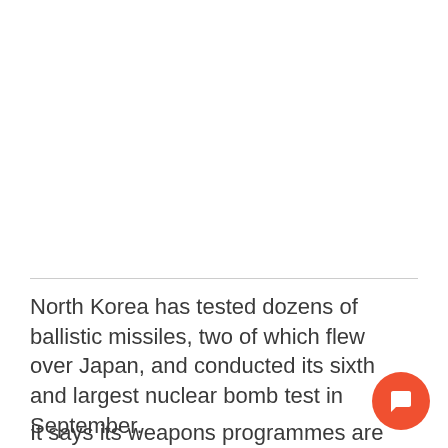[Figure (photo): Blank/white image area at top of page, representing a cropped photo area]
North Korea has tested dozens of ballistic missiles, two of which flew over Japan, and conducted its sixth and largest nuclear bomb test in September.
It says its weapons programmes are a